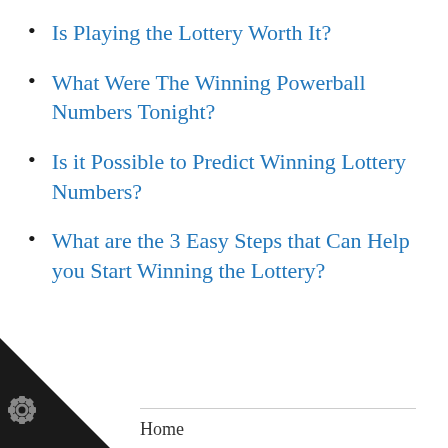Is Playing the Lottery Worth It?
What Were The Winning Powerball Numbers Tonight?
Is it Possible to Predict Winning Lottery Numbers?
What are the 3 Easy Steps that Can Help you Start Winning the Lottery?
Home